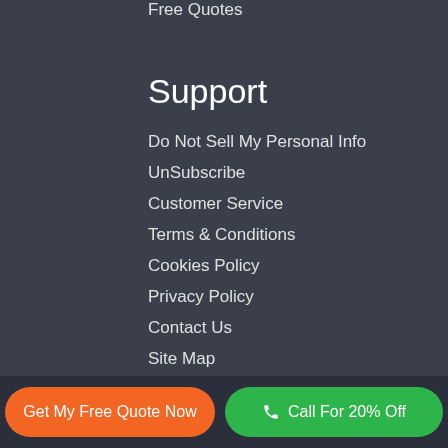Free Quotes
Support
Do Not Sell My Personal Info
UnSubscribe
Customer Service
Terms & Conditions
Cookies Policy
Privacy Policy
Contact Us
Site Map
FAQ
Get My Free Quote Now | Call For 20% Off